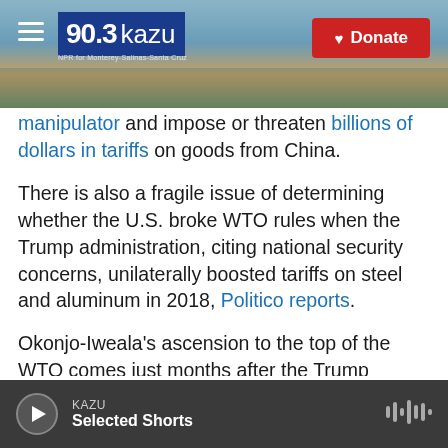[Figure (screenshot): 90.3 KAZU radio station header with logo, hamburger menu, and red Donate button over a coastal landscape background photo]
manipulator and impose or threaten billions of dollars in tariffs on goods from China.
There is also a fragile issue of determining whether the U.S. broke WTO rules when the Trump administration, citing national security concerns, unilaterally boosted tariffs on steel and aluminum in 2018, Politico reports.
Okonjo-Iweala's ascension to the top of the WTO comes just months after the Trump administration moved to block her candidacy and instead throw its support behind another candidate, South Korea
KAZU | Selected Shorts